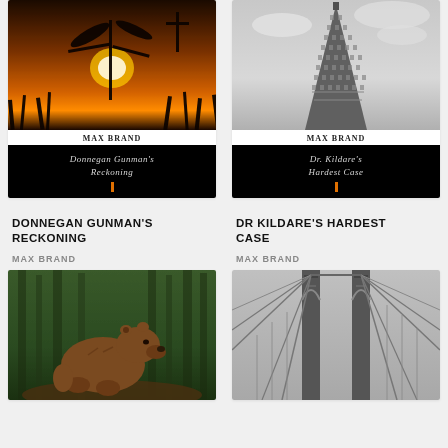[Figure (photo): Silhouette of plant/flower against orange sunset sky]
Max Brand
[Figure (photo): Black book cover with title 'Donnegan Gunman's Reckoning' and orange bar]
DONNEGAN GUNMAN'S RECKONING
MAX BRAND
[Figure (photo): Photo of a grizzly bear in a forest]
[Figure (photo): Black and white photo of the Flatiron Building]
Max Brand
[Figure (photo): Black book cover with title 'Dr. Kildare's Hardest Case' and orange bar]
DR KILDARE'S HARDEST CASE
MAX BRAND
[Figure (photo): Black and white photo of Brooklyn Bridge cables and tower]